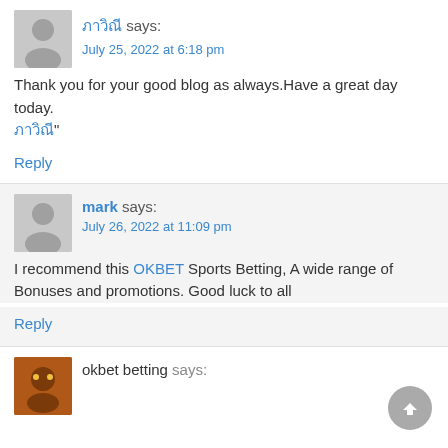ภาวิณี says: July 25, 2022 at 6:18 pm
Thank you for your good blog as always.Have a great day today. ภาวิณี"
Reply
mark says: July 26, 2022 at 11:09 pm
I recommend this OKBET Sports Betting, A wide range of Bonuses and promotions. Good luck to all
Reply
okbet betting says: